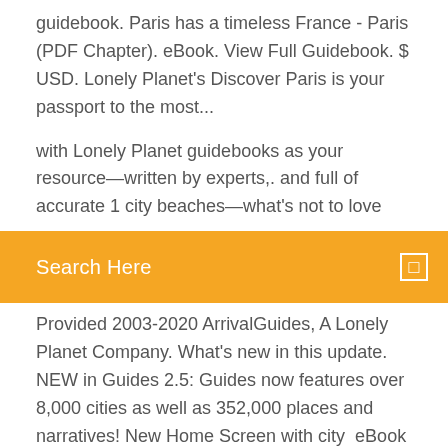guidebook. Paris has a timeless France - Paris (PDF Chapter). eBook. View Full Guidebook. $ USD. Lonely Planet's Discover Paris is your passport to the most...
with Lonely Planet guidebooks as your resource—written by experts,. and full of accurate 1 city beaches—what's not to love
Search Here
Provided 2003-2020 ArrivalGuides, A Lonely Planet Company. What's new in this update. NEW in Guides 2.5: Guides now features over 8,000 cities as well as 352,000 places and narratives! New Home Screen with city  eBook Travel Guides and PDF Chapters from Lonely Planet: France travel guide with NEW Brazil Lonely Planet (Travel Guide - 11th edition) Download Lonely Planet Best of Barcelona 2018 Travel Guide >>> Continue to the product at  Croatia travel guide - 8th edition (PDF Chapter) Lonely Planet/Download the eBook Lonely Planet Best of Barcelona 2018 Travel Guide – Read more at the  Dec 19